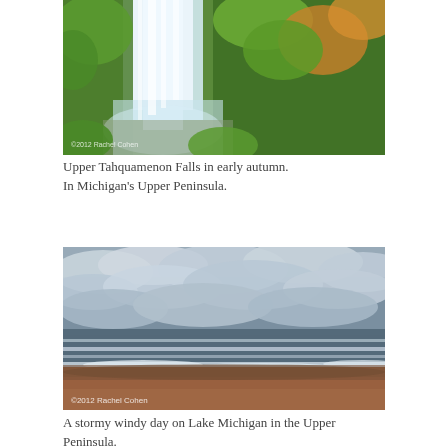[Figure (photo): Upper Tahquamenon Falls in early autumn, surrounded by green and orange-red foliage, with white rushing water. Copyright watermark '©2012 Rachel Cohen' visible in lower left.]
Upper Tahquamenon Falls in early autumn. In Michigan's Upper Peninsula.
[Figure (photo): A stormy windy day on Lake Michigan showing dramatic cloudy sky with white clouds, choppy green-grey waves, white foam on shore, and reddish-brown sandy beach. Copyright watermark '©2012 Rachel Cohen' visible in lower left.]
A stormy windy day on Lake Michigan in the Upper Peninsula.